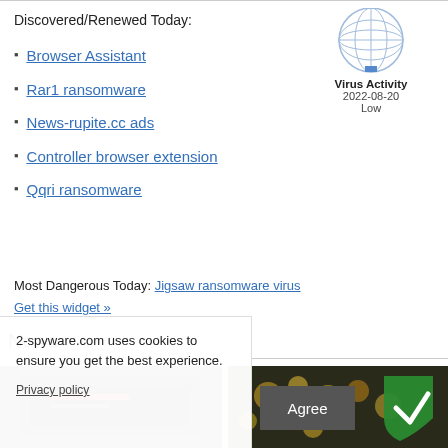Discovered/Renewed Today:
Browser Assistant
Rar1 ransomware
News-rupite.cc ads
Controller browser extension
Qqri ransomware
[Figure (illustration): Globe icon representing Virus Activity widget]
Virus Activity
2022-08-20
Low
Most Dangerous Today: Jigsaw ransomware virus
Get this widget »
News
[Figure (photo): News thumbnail image left - dark laptop/screen]
[Figure (photo): News thumbnail image right - golden/yellow particles on dark background]
2-spyware.com uses cookies to ensure you get the best experience.
Privacy policy
Agree